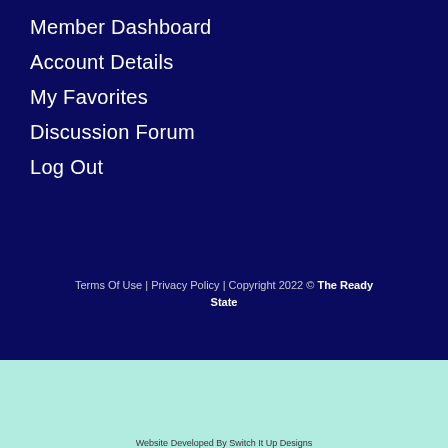Member Dashboard
Account Details
My Favorites
Discussion Forum
Log Out
Terms Of Use | Privacy Policy | Copyright 2022 © The Ready State
[Figure (other): Download on the App Store button]
[Figure (other): Get it on Google Play button]
Website Developed By Switch It Up Designs